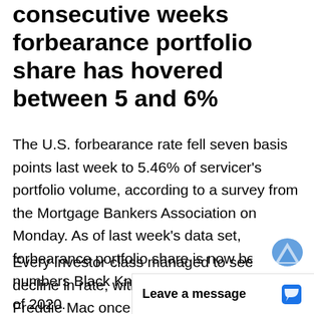consecutive weeks forbearance portfolio share has hovered between 5 and 6%
The U.S. forbearance rate fell seven basis points last week to 5.46% of servicer's portfolio volume, according to a survey from the Mortgage Bankers Association on Monday. As of last week's data set, forbearance portfolio share is now below numbers Black Knight reported in mid-April of 2020.
Every investor class managed to see a decline in rate, with Fannie Mae and Freddie Mac once claiming the smalles